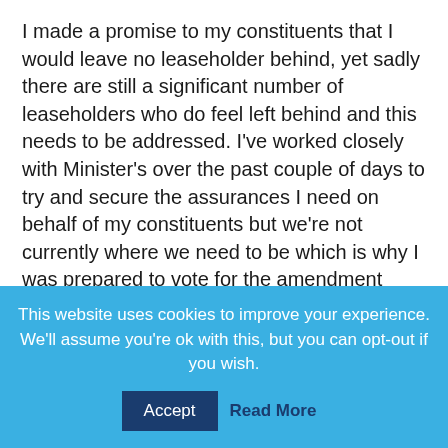I made a promise to my constituents that I would leave no leaseholder behind, yet sadly there are still a significant number of leaseholders who do feel left behind and this needs to be addressed. I've worked closely with Minister's over the past couple of days to try and secure the assurances I need on behalf of my constituents but we're not currently where we need to be which is why I was prepared to vote for the amendment today.
Read More
This website uses cookies to improve your experience. We'll assume you're ok with this, but you can opt-out if you wish.
Accept
Read More